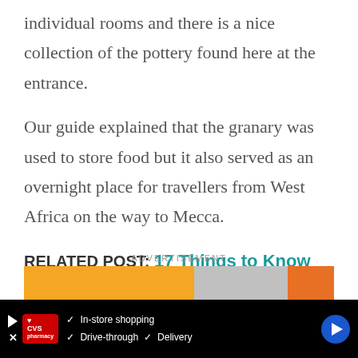individual rooms and there is a nice collection of the pottery found here at the entrance.
Our guide explained that the granary was used to store food but it also served as an overnight place for travellers from West Africa on the way to Mecca.
RELATED POST: 17 Things to Know Before Travelling to West Africa
ADVERTISEMENT
[Figure (other): CVS Pharmacy advertisement banner at bottom of page showing In-store shopping, Drive-through, and Delivery options]